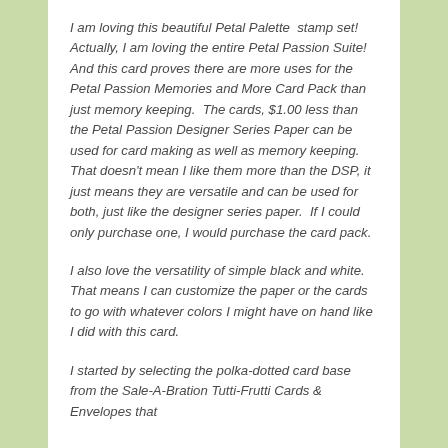I am loving this beautiful Petal Palette stamp set! Actually, I am loving the entire Petal Passion Suite! And this card proves there are more uses for the Petal Passion Memories and More Card Pack than just memory keeping. The cards, $1.00 less than the Petal Passion Designer Series Paper can be used for card making as well as memory keeping. That doesn't mean I like them more than the DSP, it just means they are versatile and can be used for both, just like the designer series paper. If I could only purchase one, I would purchase the card pack.
I also love the versatility of simple black and white. That means I can customize the paper or the cards to go with whatever colors I might have on hand like I did with this card.
I started by selecting the polka-dotted card base from the Sale-A-Bration Tutti-Frutti Cards & Envelopes that